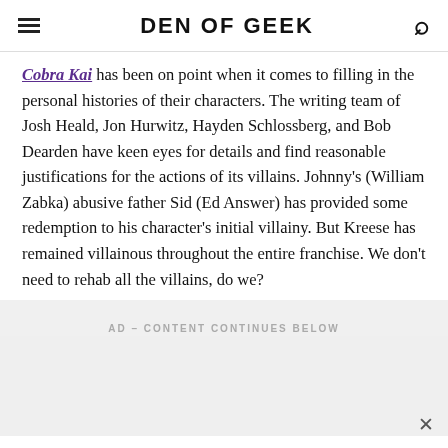DEN OF GEEK
Cobra Kai has been on point when it comes to filling in the personal histories of their characters. The writing team of Josh Heald, Jon Hurwitz, Hayden Schlossberg, and Bob Dearden have keen eyes for details and find reasonable justifications for the actions of its villains. Johnny's (William Zabka) abusive father Sid (Ed Answer) has provided some redemption to his character's initial villainy. But Kreese has remained villainous throughout the entire franchise. We don't need to rehab all the villains, do we?
AD – CONTENT CONTINUES BELOW